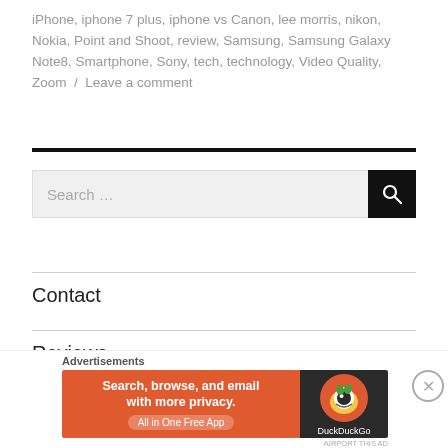iPhone, iphone 7 plus, iphone vs Canon, lee morris, nikon, Nokia, Point and Shoot, review, Samsung, Samsung Galaxy Note8, Smartphone, Sony, tech, technology, Video Quality, Zoom / Leave a comment
[Figure (other): Thick black horizontal divider line]
[Figure (other): Search box with text 'Search ...' and black search button with magnifying glass icon]
[Figure (other): Thin gray horizontal divider line]
Contact
[Figure (other): Thin gray horizontal divider line]
Reviews
[Figure (other): DuckDuckGo advertisement banner: 'Search, browse, and email with more privacy. All in One Free App' with DuckDuckGo duck logo on dark background]
Advertisements
AIRPORT THIS AD